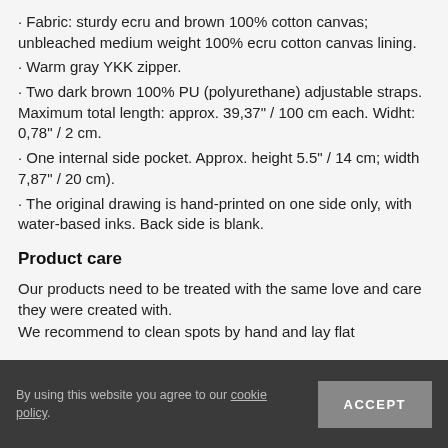· Fabric: sturdy ecru and brown 100% cotton canvas; unbleached medium weight 100% ecru cotton canvas lining.
· Warm gray YKK zipper.
· Two dark brown 100% PU (polyurethane) adjustable straps. Maximum total length: approx. 39,37" / 100 cm each. Widht: 0,78" / 2 cm.
· One internal side pocket. Approx. height 5.5" / 14 cm; width 7,87" / 20 cm).
· The original drawing is hand-printed on one side only, with water-based inks. Back side is blank.
Product care
Our products need to be treated with the same love and care they were created with.
We recommend to clean spots by hand and lay flat
By using this website you agree to our cookie policy.  ACCEPT